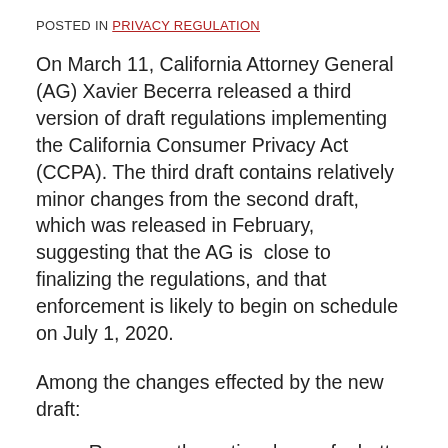POSTED IN PRIVACY REGULATION
On March 11, California Attorney General (AG) Xavier Becerra released a third version of draft regulations implementing the California Consumer Privacy Act (CCPA). The third draft contains relatively minor changes from the second draft, which was released in February, suggesting that the AG is  close to finalizing the regulations, and that enforcement is likely to begin on schedule on July 1, 2020.
Among the changes effected by the new draft:
Removes the optional use of a button on businesses' websites to be used by consumers to opt-out of the sale of their personal information.